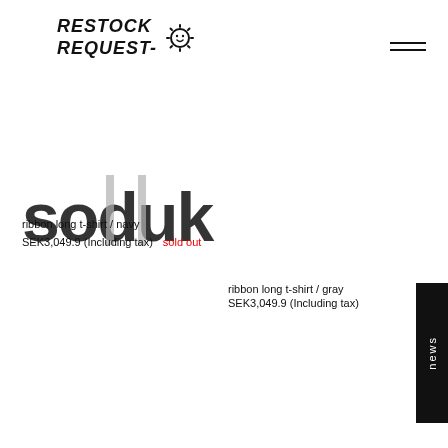RESTOCK REQUEST
[Figure (logo): Restock Request handwritten logo with sun icon]
soduk
ribbon long t-shirt / navy
SEK3,049.9 (Including tax)    sold out
ribbon long t-shirt / gray
SEK3,049.9 (Including tax)
news